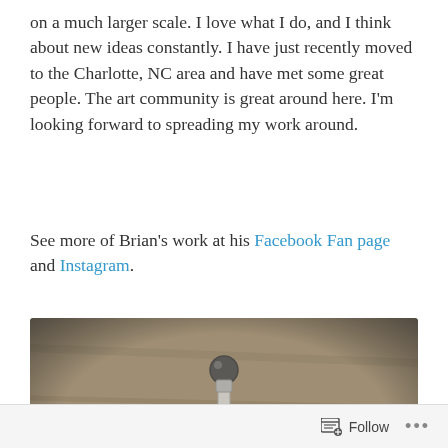on a much larger scale. I love what I do, and I think about new ideas constantly. I have just recently moved to the Charlotte, NC area and have met some great people. The art community is great around here. I'm looking forward to spreading my work around.
See more of Brian's work at his Facebook Fan page and Instagram.
[Figure (photo): A black and white photo of a small robot sculpture made from metal hardware parts (bolts, screws, nuts, springs, hinges), photographed against a wooden surface background. The robot figure has articulated limbs and a spherical head.]
Follow ...